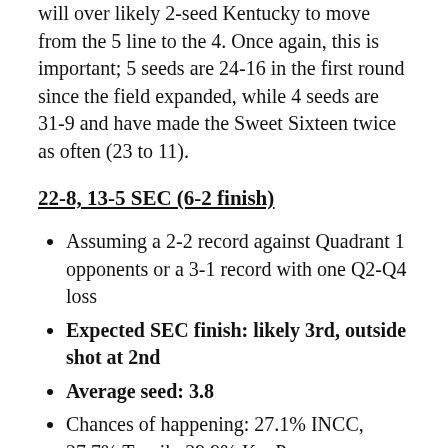will over likely 2-seed Kentucky to move from the 5 line to the 4. Once again, this is important; 5 seeds are 24-16 in the first round since the field expanded, while 4 seeds are 31-9 and have made the Sweet Sixteen twice as often (23 to 11).
22-8, 13-5 SEC (6-2 finish)
Assuming a 2-2 record against Quadrant 1 opponents or a 3-1 record with one Q2-Q4 loss
Expected SEC finish: likely 3rd, outside shot at 2nd
Average seed: 3.8
Chances of happening: 27.1% INCC, 27.7% Torvik, 29.9% KenPom
If you combine the odds of these two sites + KenPom, this is Tennessee's most likely outcome. What an outcome it would be: multiple wins over the State/Kentucky/Arkansas away/Auburn grouping